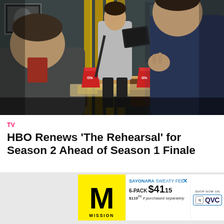[Figure (photo): Scene from TV show The Rehearsal: two men sit at a restaurant table with red cups and food, while a man carrying a laptop bag walks behind them in a cafe setting]
TV
HBO Renews ‘The Rehearsal’ for Season 2 Ahead of Season 1 Finale
[Figure (infographic): Advertisement: Mission brand socks. SAYONARA SWEATY FEET. 6-PACK $41.15. $119.94 if purchased separately. Shop now on QVC. Yellow background with Mission M logo and white socks image.]